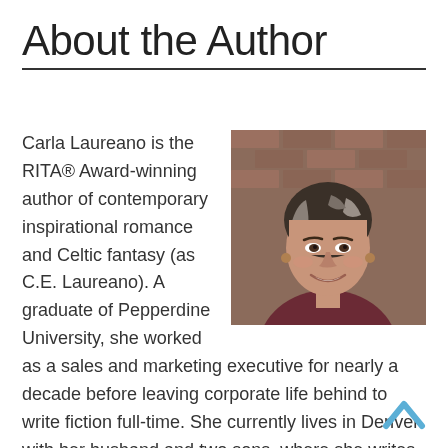About the Author
Carla Laureano is the RITA® Award-winning author of contemporary inspirational romance and Celtic fantasy (as C.E. Laureano). A graduate of Pepperdine University, she worked as a sales and marketing executive for nearly a decade before leaving corporate life behind to write fiction full-time. She currently lives in Denver with her husband and two sons, where she writes during the day and cooks things at night.
[Figure (photo): Headshot photo of Carla Laureano, a woman with dark hair highlighted with silver/gray, smiling, wearing a dark maroon top, with a brick wall background.]